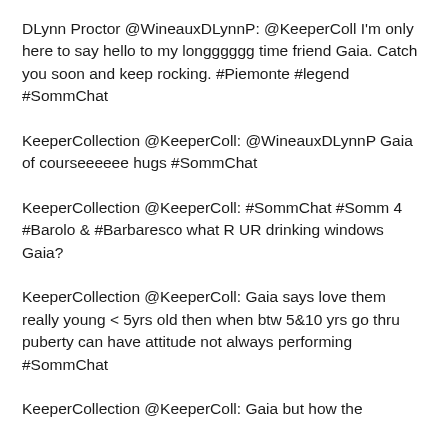DLynn Proctor @WineauxDLynnP: @KeeperColl I'm only here to say hello to my longggggg time friend Gaia. Catch you soon and keep rocking. #Piemonte #legend #SommChat
KeeperCollection @KeeperColl: @WineauxDLynnP Gaia of courseeeeee hugs #SommChat
KeeperCollection @KeeperColl: #SommChat #Somm 4 #Barolo & #Barbaresco what R UR drinking windows Gaia?
KeeperCollection @KeeperColl: Gaia says love them really young < 5yrs old then when btw 5&10 yrs go thru puberty can have attitude not always performing #SommChat
KeeperCollection @KeeperColl: Gaia but how the